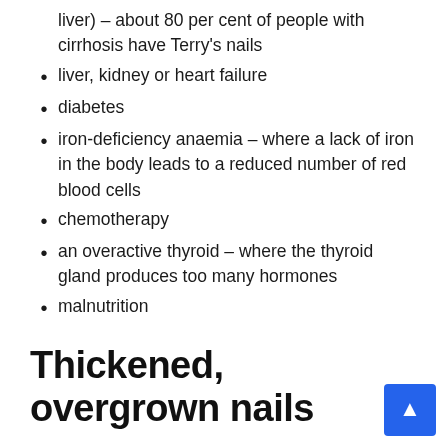liver) – about 80 per cent of people with cirrhosis have Terry's nails
liver, kidney or heart failure
diabetes
iron-deficiency anaemia – where a lack of iron in the body leads to a reduced number of red blood cells
chemotherapy
an overactive thyroid – where the thyroid gland produces too many hormones
malnutrition
Thickened, overgrown nails
A common cause of calloused nails is a fungal